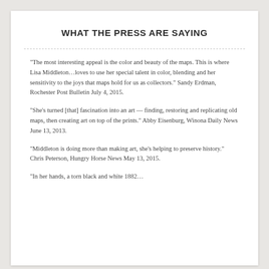WHAT THE PRESS ARE SAYING
“The most interesting appeal is the color and beauty of the maps. This is where Lisa Middleton…loves to use her special talent in color, blending and her sensitivity to the joys that maps hold for us as collectors.” Sandy Erdman, Rochester Post Bulletin July 4, 2015.
“She’s turned [that] fascination into an art — finding, restoring and replicating old maps, then creating art on top of the prints.” Abby Eisenburg, Winona Daily News June 13, 2013.
“Middleton is doing more than making art, she’s helping to preserve history.” Chris Peterson, Hungry Horse News May 13, 2015.
“In her hands, a torn black and white 1882…